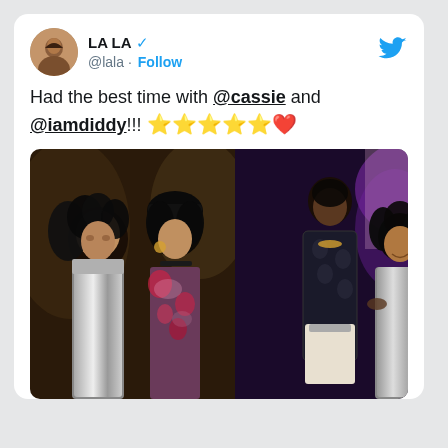[Figure (screenshot): Twitter/X profile avatar of LA LA - woman in gold/brown tones]
LA LA ✔ @lala · Follow
[Figure (logo): Twitter bird logo in blue]
Had the best time with @cassie and @iamdiddy!!! ⭐⭐⭐⭐⭐❤
[Figure (photo): Two side-by-side photos: Left shows two women posing together at a party (LA LA and Cassie), right shows a tall man in black lace jacket with a woman in silver sequin dress at a purple-lit venue]